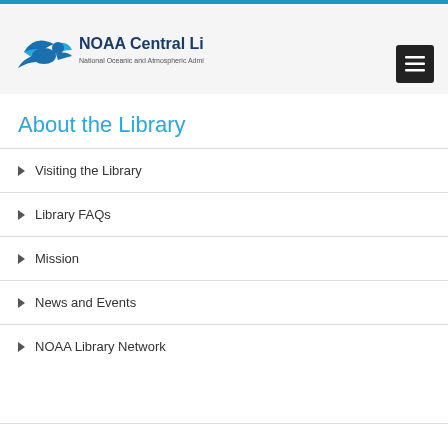[Figure (logo): NOAA Central Library logo with bird and text 'NOAA Central Library / National Oceanic and Atmospheric Administration']
About the Library
Visiting the Library
Library FAQs
Mission
News and Events
NOAA Library Network